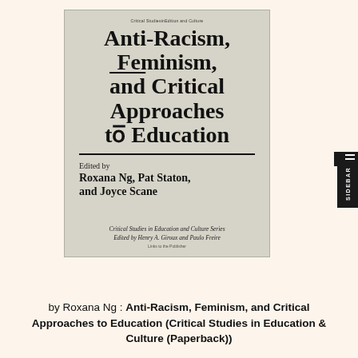[Figure (illustration): Book cover of 'Anti-Racism, Feminism, and Critical Approaches to Education', edited by Roxana Ng, Pat Staton, and Joyce Scane. Part of the Critical Studies in Education and Culture Series edited by Henry A. Giroux and Paulo Freire. Light gray/beige cover with bold serif title text and a horizontal rule separating the title from the editors.]
by Roxana Ng : Anti-Racism, Feminism, and Critical Approaches to Education (Critical Studies in Education & Culture (Paperback))